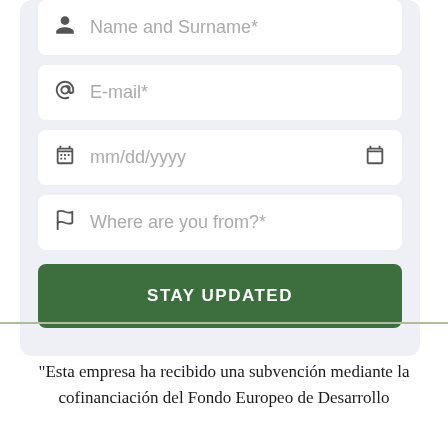[Figure (screenshot): Web form card with fields: Name and Surname, E-mail, date picker (mm/dd/yyyy), Where are you from, and a green STAY UPDATED button]
“Esta empresa ha recibido una subvención mediante la cofinanciación del Fondo Europeo de Desarrollo